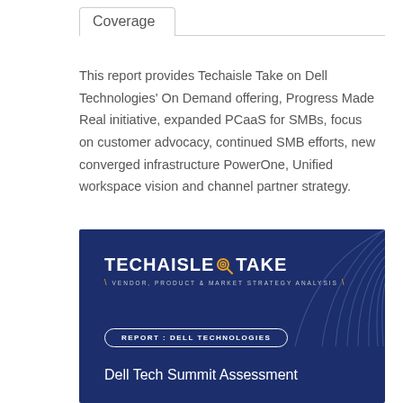Coverage
This report provides Techaisle Take on Dell Technologies' On Demand offering, Progress Made Real initiative, expanded PCaaS for SMBs, focus on customer advocacy, continued SMB efforts, new converged infrastructure PowerOne, Unified workspace vision and channel partner strategy.
[Figure (other): Techaisle Take report cover image on a dark navy blue background showing the Techaisle Take logo with magnifying glass icon and tagline 'Vendor, Product & Market Strategy Analysis', a badge reading 'REPORT : DELL TECHNOLOGIES', and a title 'Dell Tech Summit Assessment' with decorative arc lines in the upper right corner.]